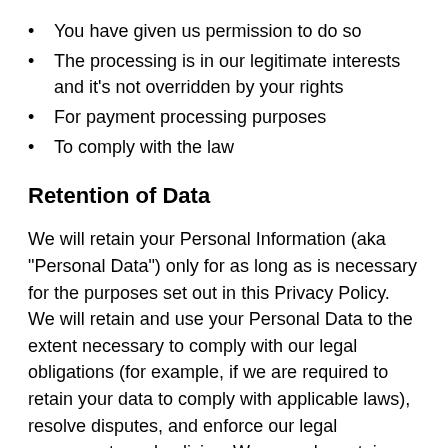You have given us permission to do so
The processing is in our legitimate interests and it's not overridden by your rights
For payment processing purposes
To comply with the law
Retention of Data
We will retain your Personal Information (aka “Personal Data”) only for as long as is necessary for the purposes set out in this Privacy Policy. We will retain and use your Personal Data to the extent necessary to comply with our legal obligations (for example, if we are required to retain your data to comply with applicable laws), resolve disputes, and enforce our legal agreements and policies. We may also retain Other Information for internal analysis purposes. Other Information is generally retained for a shorter period of time, except when this data is used to strengthen the security or to improve the functionality of our Service, or we are